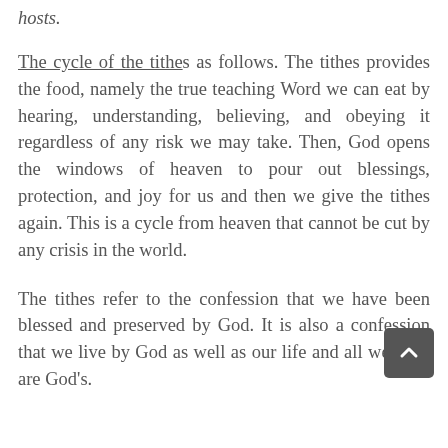hosts.
The cycle of the tithe is as follows. The tithes provides the food, namely the true teaching Word we can eat by hearing, understanding, believing, and obeying it regardless of any risk we may take. Then, God opens the windows of heaven to pour out blessings, protection, and joy for us and then we give the tithes again. This is a cycle from heaven that cannot be cut by any crisis in the world.
The tithes refer to the confession that we have been blessed and preserved by God. It is also a confession that we live by God as well as our life and all we have are God's.